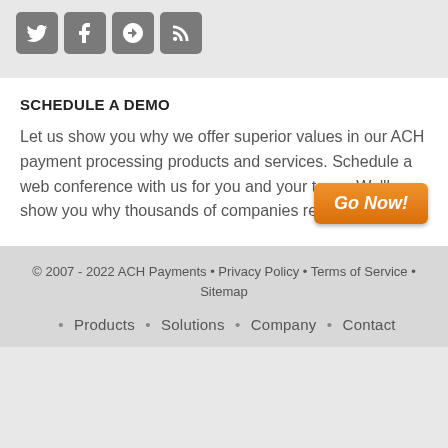[Figure (other): Social media icons: Twitter, Facebook, Google+, RSS feed]
SCHEDULE A DEMO
Let us show you why we offer superior values in our ACH payment processing products and services. Schedule a web conference with us for you and your team. We'll show you why thousands of companies rely on us!
[Figure (other): Orange button labeled 'Go Now!']
© 2007 - 2022 ACH Payments • Privacy Policy • Terms of Service • Sitemap
• Products • Solutions • Company • Contact